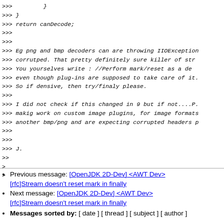>>>         }
>>> }
>>> return canDecode;
>>>
>>>
>>> Eg png and bmp decoders can are throwing IIOException when corrutped. That pretty definitely sure killer of str
>>> You yourselves write  : //Perform mark/reset as a de
>>> even though plug-ins are supposed to take care of it.
>>> So if densive, then try/finaly please.
>>>
>>> I did not check if this changed in 9 but if not....P.
>>> makig work on custom image plugins, for image formats
>>> another bmp/png and are expecting corrupted headers p
>>>
>>>
>>> J.
>>
>
>
Previous message: [OpenJDK 2D-Dev] <AWT Dev> [rfc]Stream doesn't reset mark in finally
Next message: [OpenJDK 2D-Dev] <AWT Dev> [rfc]Stream doesn't reset mark in finally
Messages sorted by: [ date ] [ thread ] [ subject ] [ author ]